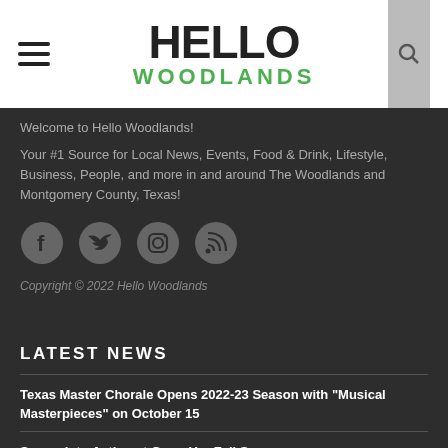HELLO WOODLANDS
Welcome to Hello Woodlands!
Your #1 Source for Local News, Events, Food & Drink, Lifestyle, Business, People, and more in and around The Woodlands and Montgomery County, Texas!
[Figure (other): Social media icons: Facebook, Twitter, Instagram, RSS]
Copyright © 2022 Hello Woodlands
LATEST NEWS
Texas Master Chorale Opens 2022-23 Season with "Musical Masterpieces" on October 15
Sweep into Action at GreenUp: Fall Sweep
Holly Hill Trails Park Officially Opens
Montgomery County Sheriff investigates Cruelty to Animals